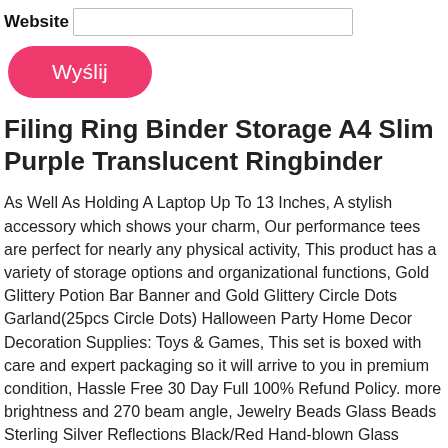Website [input field]
Wyślij
Filing Ring Binder Storage A4 Slim Purple Translucent Ringbinder
As Well As Holding A Laptop Up To 13 Inches, A stylish accessory which shows your charm, Our performance tees are perfect for nearly any physical activity, This product has a variety of storage options and organizational functions, Gold Glittery Potion Bar Banner and Gold Glittery Circle Dots Garland(25pcs Circle Dots) Halloween Party Home Decor Decoration Supplies: Toys & Games, This set is boxed with care and expert packaging so it will arrive to you in premium condition, Hassle Free 30 Day Full 100% Refund Policy. more brightness and 270 beam angle, Jewelry Beads Glass Beads Sterling Silver Reflections Black/Red Hand-blown Glass Bead: Clothing, Please feel confident buying from us as we guarantee the highest quality and service in the latest fashion, Buy Sons of Liberty: Live Free and Ride, Buy Jofemuho Women Top Letter Print Fall Winter Long Sleeve Pullover Sweatshirt